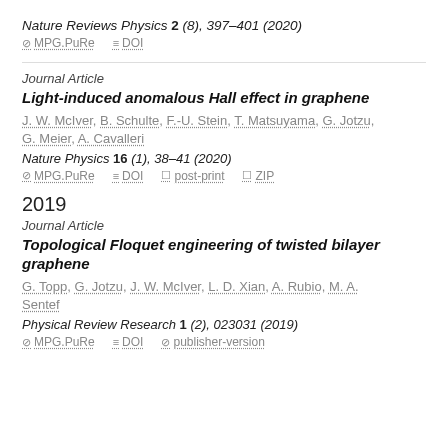Nature Reviews Physics 2 (8), 397–401 (2020)
⊘ MPG.PuRe   ≡ DOI
Journal Article
Light-induced anomalous Hall effect in graphene
J. W. McIver, B. Schulte, F.-U. Stein, T. Matsuyama, G. Jotzu, G. Meier, A. Cavalleri
Nature Physics 16 (1), 38–41 (2020)
⊘ MPG.PuRe   ≡ DOI   ☐ post-print   ☐ ZIP
2019
Journal Article
Topological Floquet engineering of twisted bilayer graphene
G. Topp, G. Jotzu, J. W. McIver, L. D. Xian, A. Rubio, M. A. Sentef
Physical Review Research 1 (2), 023031 (2019)
⊘ MPG.PuRe   ≡ DOI   ⊘ publisher-version